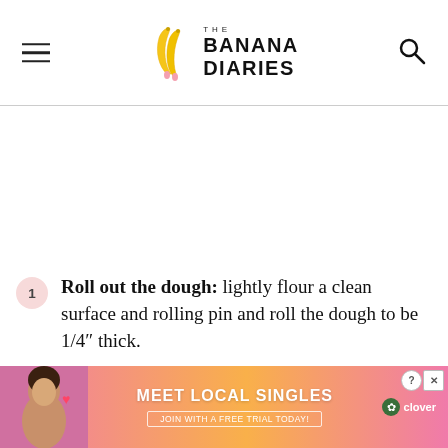THE BANANA DIARIES
Roll out the dough: lightly flour a clean surface and rolling pin and roll the dough to be 1/4" thick.
Cut out the sugar cookies: you can use any
[Figure (photo): Advertisement banner: Meet Local Singles — Join With A Free Trial Today! Clover dating app ad with photo of a woman.]